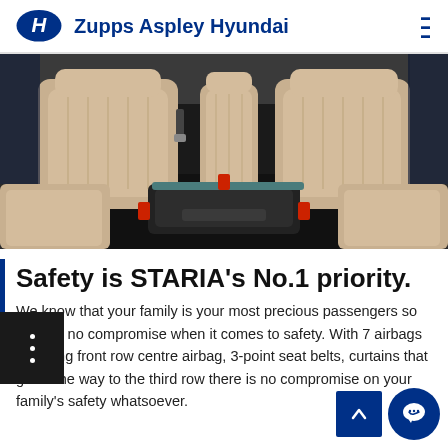Zupps Aspley Hyundai
[Figure (photo): Interior of Hyundai Staria showing beige/cream leather captain's seats with armrest console in the centre]
Safety is STARIA's No.1 priority.
We know that your family is your most precious passengers so there is no compromise when it comes to safety. With 7 airbags including front row centre airbag, 3-point seat belts, curtains that go all the way to the third row there is no compromise on your family's safety whatsoever.